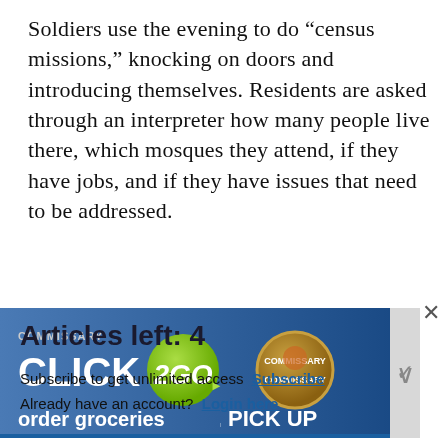Soldiers use the evening to do “census missions,” knocking on doors and introducing themselves. Residents are asked through an interpreter how many people live there, which mosques they attend, if they have jobs, and if they have issues that need to be addressed.
[Figure (screenshot): Advertisement banner for Commissary Click2Go showing the Click2Go logo with a green circle, a Commissary badge, and partial text 'order groceries' with a chevron arrow on the right.]
×
Articles left: 4
Subscribe to get unlimited access  Subscribe
Already have an account?  Login here